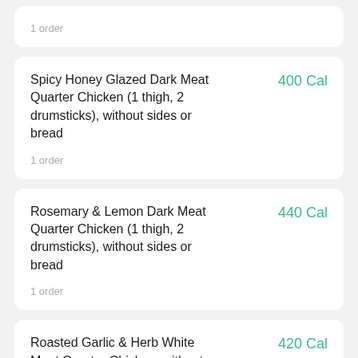1 order
Spicy Honey Glazed Dark Meat Quarter Chicken (1 thigh, 2 drumsticks), without sides or bread
400 Cal
1 order
Rosemary & Lemon Dark Meat Quarter Chicken (1 thigh, 2 drumsticks), without sides or bread
440 Cal
1 order
Roasted Garlic & Herb White Meat Quarter Chicken, without
420 Cal